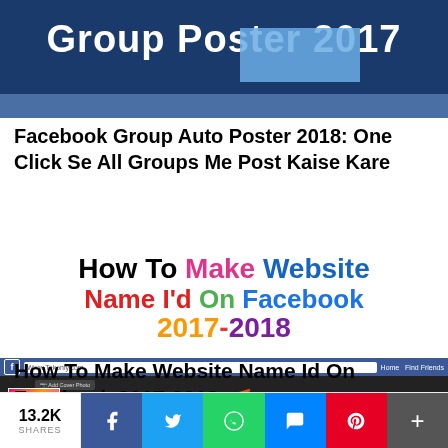[Figure (screenshot): Cropped top of 'Facebook Group Auto Poster 2017' article thumbnail with blue background and white text]
Facebook Group Auto Poster 2018: One Click Se All Groups Me Post Kaise Kare
[Figure (screenshot): How To Make Website Name I'd On Facebook 2017-2018 - colorful text banner above a Facebook profile page screenshot showing Www.Tekonly.com as profile name with red arrow pointing to it]
How To Make Website Name Id On Facebook 2017-2018
13.2K SHARES